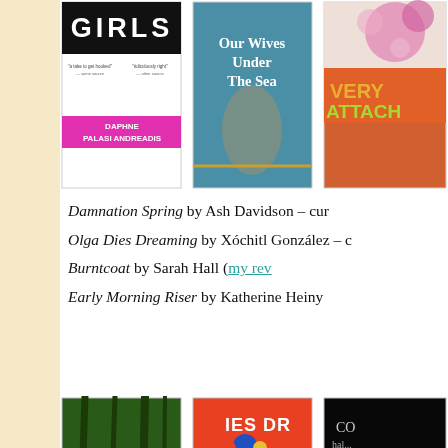[Figure (photo): Three book covers in a row: 'Girls' by Daphne Palasi Andreades (white/black with pink band), 'Our Wives Under The Sea' (teal with female figure), and a third partially visible book with orange/floral design]
Damnation Spring by Ash Davidson – cur
Olga Dies Dreaming by Xóchitl González – c
Burntcoat by Sarah Hall (my rev
Early Morning Riser by Katherine Heiny
[Figure (photo): Three book covers in a row at bottom: forest/nature cover (green), orange cover with 'DIES DR' text visible, and dark cover partially visible]
Privacy & Cookies: This site uses cookies. By continuing to use this website, you agree to their use. To find out more, including how to control cookies, see here: Cookie Policy